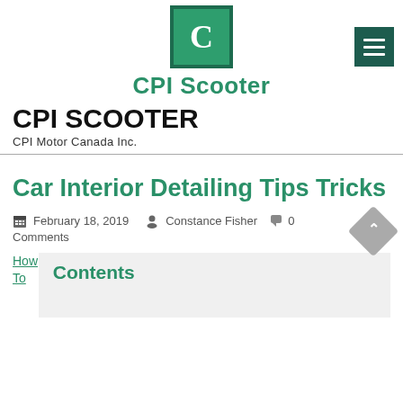[Figure (logo): CPI Scooter logo: green square with white C letter, bordered by dark green]
CPI Scooter
CPI SCOOTER
CPI Motor Canada Inc.
Car Interior Detailing Tips Tricks
February 18, 2019  Constance Fisher  0 Comments